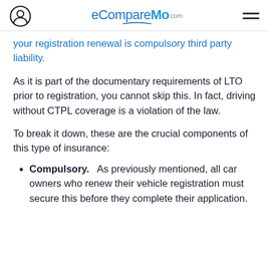eCompareMo.com
your registration renewal is compulsory third party liability.
As it is part of the documentary requirements of LTO prior to registration, you cannot skip this. In fact, driving without CTPL coverage is a violation of the law.
To break it down, these are the crucial components of this type of insurance:
Compulsory.   As previously mentioned, all car owners who renew their vehicle registration must secure this before they complete their application.